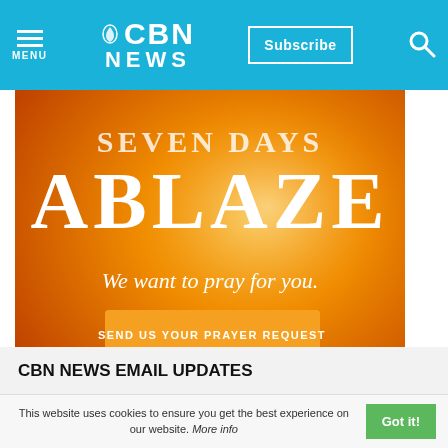CBN NEWS — Subscribe — Menu — Search
[Figure (illustration): Orange gradient banner advertisement showing 'SEVEN DAYS ABLAZE' text, 'We want to pray for you.' subtitle, and 'SEND US YOUR PRAYER REQUEST' button]
CBN NEWS EMAIL UPDATES
Stay informed with the latest from CBN News delivered to your inbox.
This website uses cookies to ensure you get the best experience on our website. More info